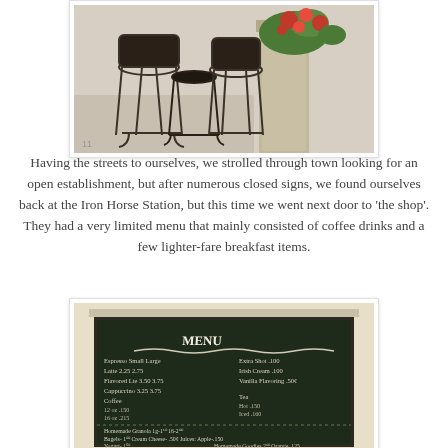[Figure (photo): Outdoor cafe or patio area with wrought-iron chairs and a stone column with red flowers/plants, photographed in natural light.]
Having the streets to ourselves, we strolled through town looking for an open establishment, but after numerous closed signs, we found ourselves back at the Iron Horse Station, but this time we went next door to 'the shop'. They had a very limited menu that mainly consisted of coffee drinks and a few lighter-fare breakfast items.
[Figure (photo): A chalkboard menu inside a cafe showing espresso drinks (Espresso, Latte, Flavored Latte, Cappuccino) with small/large prices, extras (Extra Shot, Irish Cream, Vanilla Flavoring), Coffee sizes, Tea (Hot/Iced), and food items (Homemade Granola, Bagels, Yogurt, Milk, Soy Milk, Cream Cheese, Homemade Goodies, Cookies, Juices, Fruit Cup).]